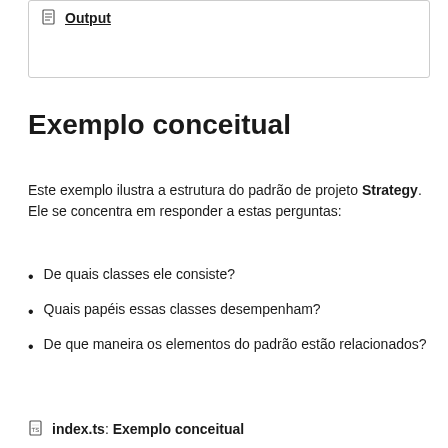Output
Exemplo conceitual
Este exemplo ilustra a estrutura do padrão de projeto Strategy. Ele se concentra em responder a estas perguntas:
De quais classes ele consiste?
Quais papéis essas classes desempenham?
De que maneira os elementos do padrão estão relacionados?
index.ts: Exemplo conceitual